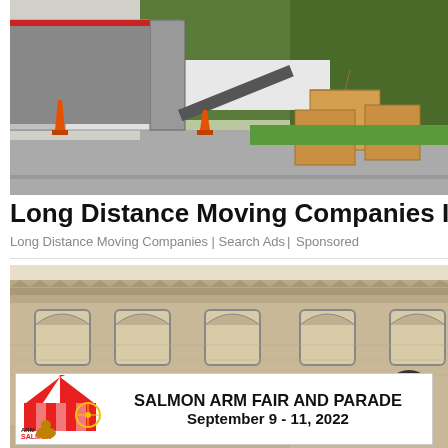[Figure (photo): Moving truck with ramp extended, orange traffic cones, cardboard boxes on suburban street]
Long Distance Moving Companies In Ashburn
Long Distance Moving Companies | Search Ads | Sponsored
[Figure (photo): Historic black and white photograph of a multi-story brick building with arched windows]
[Figure (logo): Salmon Arm Fair and Parade advertisement banner with fair logo, text: SALMON ARM FAIR AND PARADE September 9 - 11, 2022]